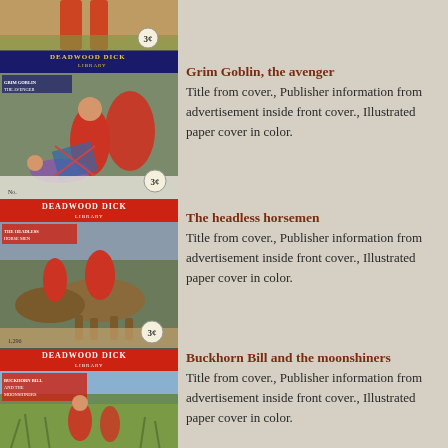[Figure (illustration): Deadwood Dick Library comic book cover: Grim Goblin the Avenger, showing action scene with figures in red, priced 3 cents]
Grim Goblin, the avenger
Title from cover., Publisher information from advertisement inside front cover., Illustrated paper cover in color.
[Figure (illustration): Deadwood Dick Library comic book cover: The Headless Horsemen, showing riders on horseback in action, priced 3 cents]
The headless horsemen
Title from cover., Publisher information from advertisement inside front cover., Illustrated paper cover in color.
[Figure (illustration): Deadwood Dick Library comic book cover: Buckhorn Bill and the Moonshiners, showing figures in outdoor scene]
Buckhorn Bill and the moonshiners
Title from cover., Publisher information from advertisement inside front cover., Illustrated paper cover in color.